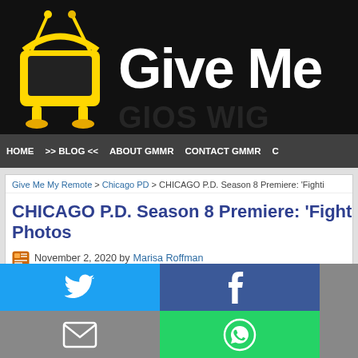[Figure (screenshot): Website header for Give Me My Remote with yellow robot TV logo on black background]
HOME  >> BLOG <<  ABOUT GMMR  CONTACT GMMR  C
Give Me My Remote > Chicago PD > CHICAGO P.D. Season 8 Premiere: 'Fighti
CHICAGO P.D. Season 8 Premiere: 'Fighti… Photos
November 2, 2020 by Marisa Roffman
When CHICAGO P.D. returns for its eighth season, Atwater (LaRoyce Hawkin… rty cop.
[Figure (screenshot): Social share overlay with Twitter, Facebook, Email, WhatsApp, SMS, and More buttons]